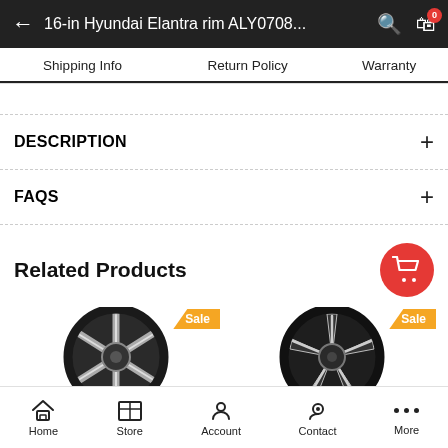← 16-in Hyundai Elantra rim ALY0708...
Shipping Info | Return Policy | Warranty
DESCRIPTION +
FAQS +
Related Products
[Figure (photo): Two alloy wheels shown as product thumbnails with 'Sale' badges]
Home | Store | Account | Contact | More